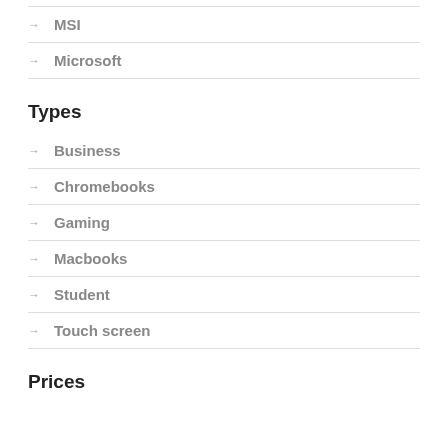MSI
Microsoft
Types
Business
Chromebooks
Gaming
Macbooks
Student
Touch screen
Prices